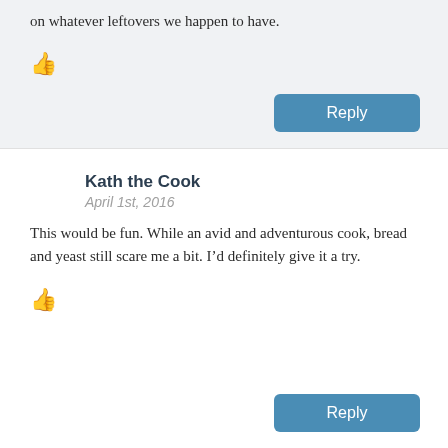on whatever leftovers we happen to have.
[thumbs up icon]
Reply
Kath the Cook
April 1st, 2016
This would be fun. While an avid and adventurous cook, bread and yeast still scare me a bit. I’d definitely give it a try.
[thumbs up icon]
Reply